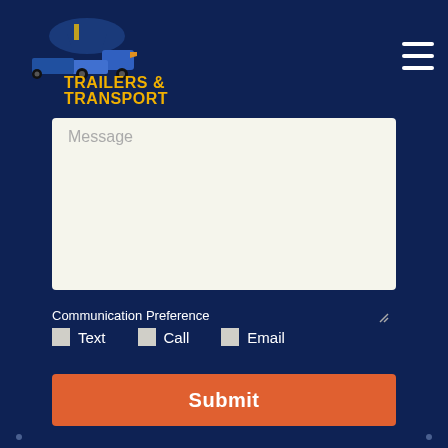[Figure (logo): Trailers & Transport logo with boat and truck imagery, yellow text on dark background]
[Figure (other): Hamburger menu icon (three horizontal white lines)]
Message
Communication Preference
Text
Call
Email
Submit